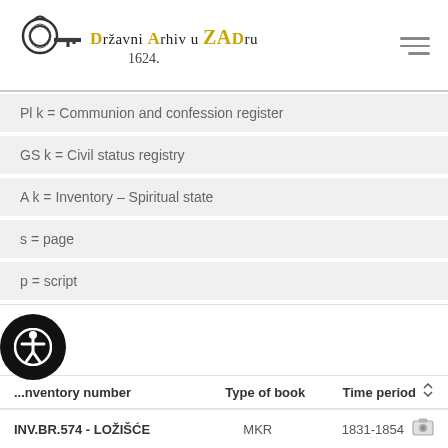Državni Arhiv u Zadru 1624.
Pl k = Communion and confession register
GS k = Civil status registry
A k = Inventory – Spiritual state
s = page
p = script
...ook
| Inventory number | Type of book | Time period |
| --- | --- | --- |
| INV.BR.574 - LOŽIŠĆE | MKR | 1831-1854 |